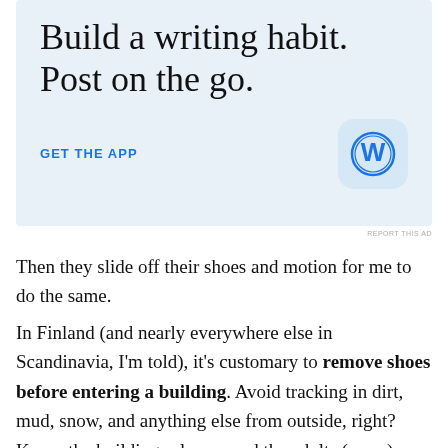[Figure (other): WordPress app advertisement banner with large serif text 'Build a writing habit. Post on the go.', a blue 'GET THE APP' call-to-action link, and the WordPress 'W' logo icon on a light blue background.]
REPORT THIS AD
Then they slide off their shoes and motion for me to do the same.
In Finland (and nearly everywhere else in Scandinavia, I'm told), it's customary to remove shoes before entering a building. Avoid tracking in dirt, mud, snow, and anything else from outside, right? Keeps the buildings cleaner and the adults (more) sane. I remove my shoes, and then it occurs to me that all of the classes are done in socks. Or barefoot. Whatever the kids wear to school that day...